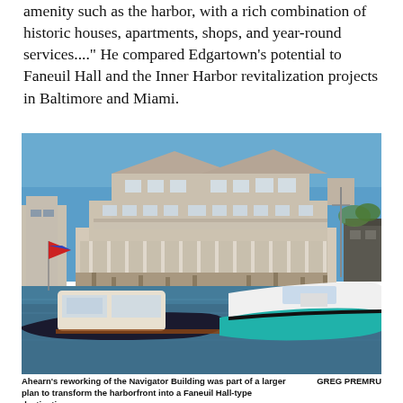amenity such as the harbor, with a rich combination of historic houses, apartments, shops, and year-round services...." He compared Edgartown's potential to Faneuil Hall and the Inner Harbor revitalization projects in Baltimore and Miami.
[Figure (photo): Photograph of boats docked at a harbor waterfront in front of a large multi-story white colonial-style building with wraparound porches and balconies, on a clear sunny day. Two boats are prominently in the foreground — a classic dark-hulled motorboat on the left and a white powerboat with a teal hull on the right.]
Ahearn's reworking of the Navigator Building was part of a larger plan to transform the harborfront into a Faneuil Hall-type destination.
GREG PREMRU